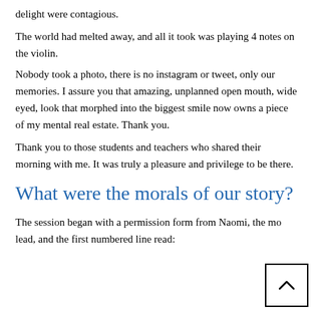delight were contagious.
The world had melted away, and all it took was playing 4 notes on the violin.
Nobody took a photo, there is no instagram or tweet, only our memories. I assure you that amazing, unplanned open mouth, wide eyed, look that morphed into the biggest smile now owns a piece of my mental real estate. Thank you.
Thank you to those students and teachers who shared their morning with me. It was truly a pleasure and privilege to be there.
What were the morals of our story?
The session began with a permission form from Naomi, the mo lead, and the first numbered line read: